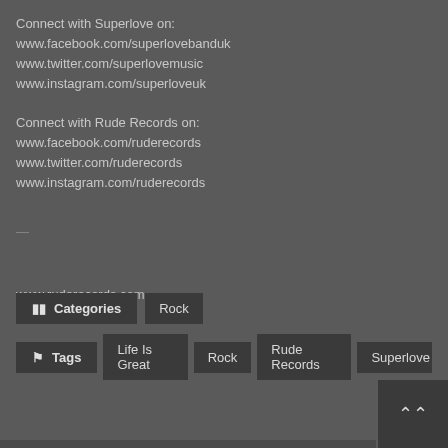Connect with Superlove on:
www.facebook.com/superlovebanduk
www.twitter.com/superlovemusic
www.instagram.com/superloveuk
Connect with Rude Records on:
www.facebook.com/ruderecords
www.twitter.com/ruderecords
www.instagram.com/ruderecords
—
www.ruderecords.com
Categories  Rock
Tags  Life Is Great  Rock  Rude Records  Superlove